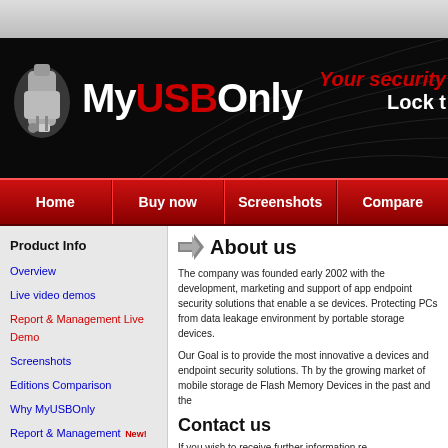[Figure (logo): MyUSBOnly website header banner with USB device icon, brand name MyUSBOnly, and tagline 'Your security... Lock...' on black background with decorative lines]
Home | Buy now | Screenshots | Compare
Product Info
Overview
Live video demos
Report & Management Live Demo
Screenshots
Editions Comparison
Why MyUSBOnly
Report & Management New!
Version History
Download free trial
See our clients
About us
The company was founded early 2002 with the development, marketing and support of app endpoint security solutions that enable a se devices. Protecting PCs from data leakage environment by portable storage devices.
Our Goal is to provide the most innovative a devices and endpoint security solutions. Th by the growing market of mobile storage de Flash Memory Devices in the past and the
Contact us
If you wish to receive further information re